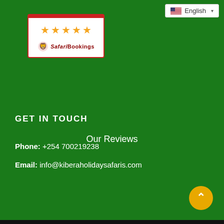[Figure (screenshot): Language selector dropdown showing English with US flag]
[Figure (logo): SafariBookings badge with 5 gold stars and red border/logo]
Our Reviews
GET IN TOUCH
Phone: +254 700219238
Email: info@kiberaholidaysafaris.com